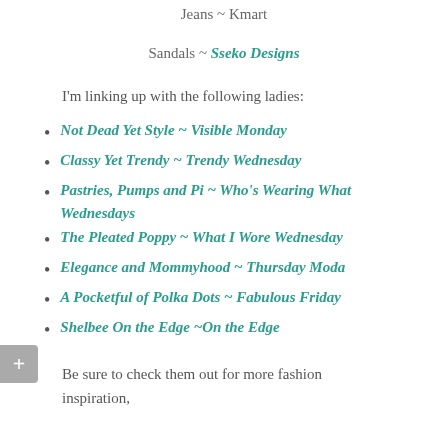Jeans ~ Kmart
Sandals ~ Sseko Designs
I'm linking up with the following ladies:
Not Dead Yet Style ~ Visible Monday
Classy Yet Trendy ~ Trendy Wednesday
Pastries, Pumps and Pi ~ Who's Wearing What Wednesdays
The Pleated Poppy ~ What I Wore Wednesday
Elegance and Mommyhood ~ Thursday Moda
A Pocketful of Polka Dots ~ Fabulous Friday
Shelbee On the Edge ~On the Edge
Be sure to check them out for more fashion inspiration,